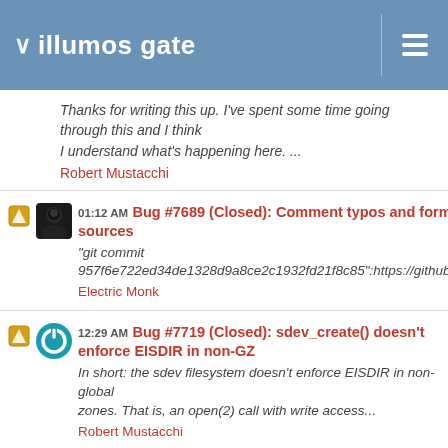illumos gate
Thanks for writing this up. I've spent some time going through this and I think
I understand what's happening here. ...
Robert Mustacchi
01:12 AM Bug #7689 (Closed): Comment typos and formatting fixes in NFSv4 client sources
"git commit 957f6e722ed34de1328d9a8ce2c1932fd21f8c85":https://github.com/gate/commit/957f6e722ed34de1...
Electric Monk
12:29 AM Bug #7719 (Closed): sdev_create() doesn't enforce EISDIR in non-GZ
In short: the sdev filesystem doesn't enforce EISDIR in non-global
zones. That is, an open(2) call with write access...
Robert Mustacchi